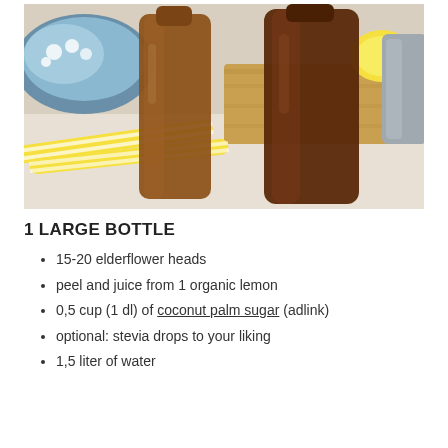[Figure (photo): Two glass bottles filled with amber/brown elderflower cordial drink, sitting on a white surface. Yellow and white striped straws visible in foreground, a bowl with white flowers and lemon slices in the background.]
1 LARGE BOTTLE
15-20 elderflower heads
peel and juice from 1 organic lemon
0,5 cup (1 dl) of coconut palm sugar (adlink)
optional: stevia drops to your liking
1,5 liter of water